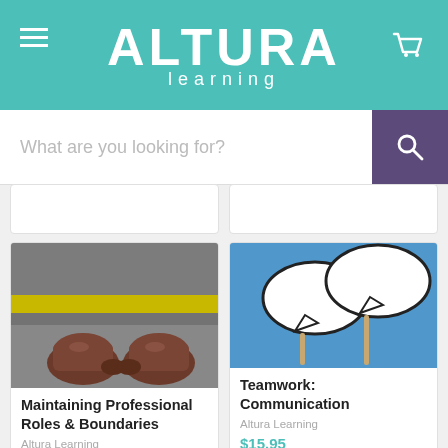[Figure (logo): Altura Learning logo with hamburger menu and cart icon on teal header]
What are you looking for?
[Figure (photo): Partially visible cards from previous scroll position]
[Figure (photo): Top-down view of leather shoes standing at a yellow line on asphalt]
Maintaining Professional Roles & Boundaries
Altura Learning
$32.95
[Figure (photo): Two speech bubble props on sticks against a blue background]
Teamwork: Communication
Altura Learning
$15.95